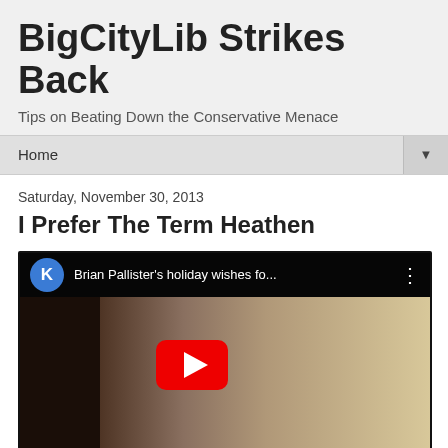BigCityLib Strikes Back
Tips on Beating Down the Conservative Menace
Home
Saturday, November 30, 2013
I Prefer The Term Heathen
[Figure (screenshot): YouTube video thumbnail showing a man in a suit with a YouTube play button overlay. Video title reads: Brian Pallister's holiday wishes fo...]